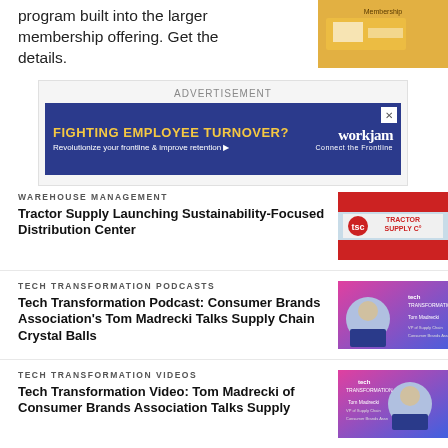program built into the larger membership offering. Get the details.
[Figure (photo): Exterior photo of a building with yellow signage]
ADVERTISEMENT
[Figure (screenshot): Advertisement banner: FIGHTING EMPLOYEE TURNOVER? Revolutionize your frontline & improve retention. WorkJam - Connect the Frontline]
WAREHOUSE MANAGEMENT
Tractor Supply Launching Sustainability-Focused Distribution Center
[Figure (photo): Tractor Supply Co. sign/logo on building]
TECH TRANSFORMATION PODCASTS
Tech Transformation Podcast: Consumer Brands Association's Tom Madrecki Talks Supply Chain Crystal Balls
[Figure (photo): Tech Transformation podcast thumbnail with Tom Madrecki, VP of Supply Chain, Consumer Brands Association]
TECH TRANSFORMATION VIDEOS
Tech Transformation Video: Tom Madrecki of Consumer Brands Association Talks Supply
[Figure (photo): Tech Transformation video thumbnail with Tom Madrecki]